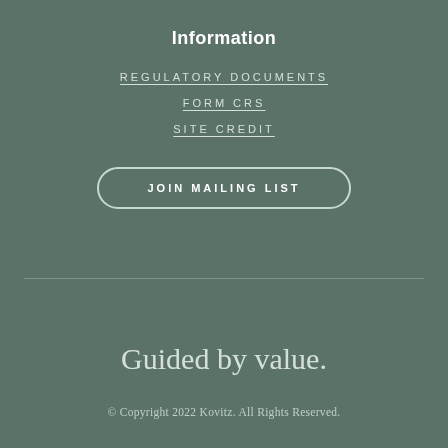Information
REGULATORY DOCUMENTS
FORM CRS
SITE CREDIT
JOIN MAILING LIST
Guided by value.
© Copyright 2022 Kovitz. All Rights Reserved.